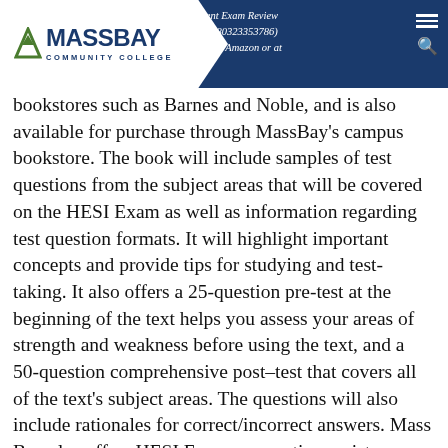Assessment Exam Review ISBN 9780323353786 through Amazon or at bookstores such as Barnes and Noble (MassBay Community College logo header)
bookstores such as Barnes and Noble, and is also available for purchase through MassBay's campus bookstore. The book will include samples of test questions from the subject areas that will be covered on the HESI Exam as well as information regarding test question formats. It will highlight important concepts and provide tips for studying and test-taking. It also offers a 25-question pre-test at the beginning of the text helps you assess your areas of strength and weakness before using the text, and a 50-question comprehensive post-test that covers all of the text's subject areas. The questions will also include rationales for correct/incorrect answers. Mass Bay also offers HESI Exam preparation assistance through our